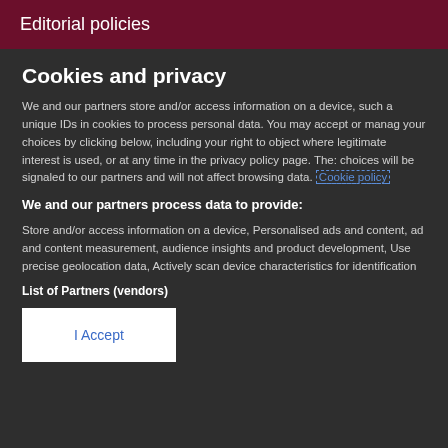Editorial policies
Cookies and privacy
We and our partners store and/or access information on a device, such as unique IDs in cookies to process personal data. You may accept or manage your choices by clicking below, including your right to object where legitimate interest is used, or at any time in the privacy policy page. These choices will be signaled to our partners and will not affect browsing data. Cookie policy
We and our partners process data to provide:
Store and/or access information on a device, Personalised ads and content, ad and content measurement, audience insights and product development, Use precise geolocation data, Actively scan device characteristics for identification
List of Partners (vendors)
I Accept